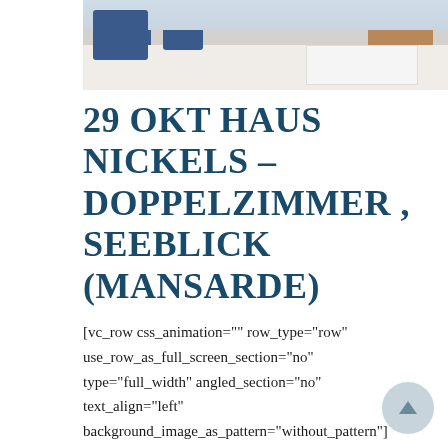[Figure (photo): Hotel room interior showing blue armchairs, white beds, and wooden furniture with a lake view]
29 OKT HAUS NICKELS – DOPPELZIMMER , SEEBLICK (MANSARDE)
[vc_row css_animation="" row_type="row" use_row_as_full_screen_section="no" type="full_width" angled_section="no" text_align="left" background_image_as_pattern="without_pattern"][vc_column][vc_column_text